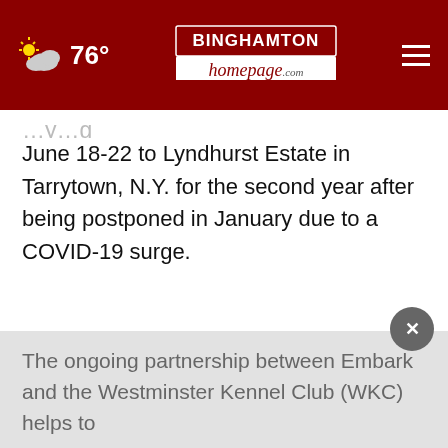76° | Binghamton Homepage
June 18-22 to Lyndhurst Estate in Tarrytown, N.Y. for the second year after being postponed in January due to a COVID-19 surge.
[Figure (logo): Embark logo — yellow dog-bone / cross icon to the left of the word 'embark' in black text with registered trademark symbol]
The ongoing partnership between Embark and the Westminster Kennel Club (WKC) helps to